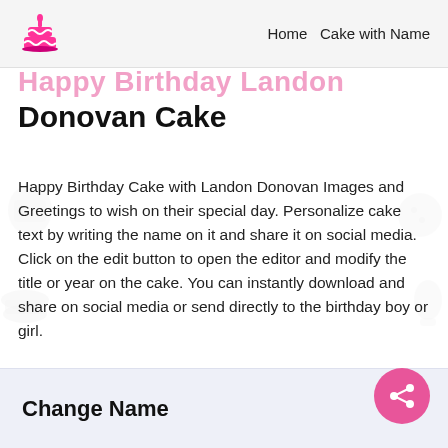Home  Cake with Name
Happy Birthday Landon Donovan Cake
Happy Birthday Cake with Landon Donovan Images and Greetings to wish on their special day. Personalize cake text by writing the name on it and share it on social media. Click on the edit button to open the editor and modify the title or year on the cake. You can instantly download and share on social media or send directly to the birthday boy or girl.
Change Name